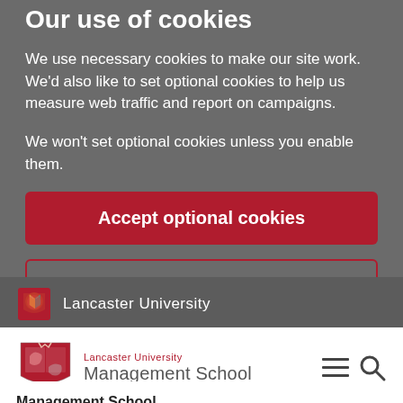Our use of cookies
We use necessary cookies to make our site work. We'd also like to set optional cookies to help us measure web traffic and report on campaigns.
We won't set optional cookies unless you enable them.
Accept optional cookies
Cookie settings
Lancaster University
[Figure (logo): Lancaster University Management School logo with red shield and text]
Management School
Research at Lancaster University Management School